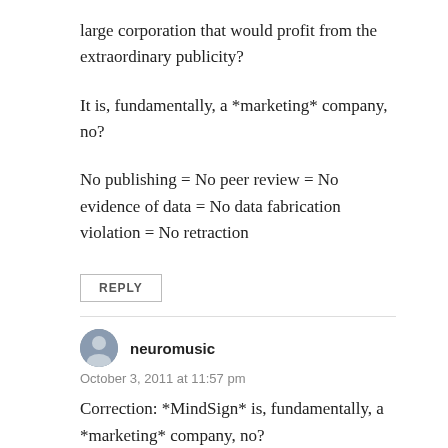large corporation that would profit from the extraordinary publicity?
It is, fundamentally, a *marketing* company, no?
No publishing = No peer review = No evidence of data = No data fabrication violation = No retraction
REPLY
neuromusic
October 3, 2011 at 11:57 pm
Correction: *MindSign* is, fundamentally, a *marketing* company, no?
REPLY